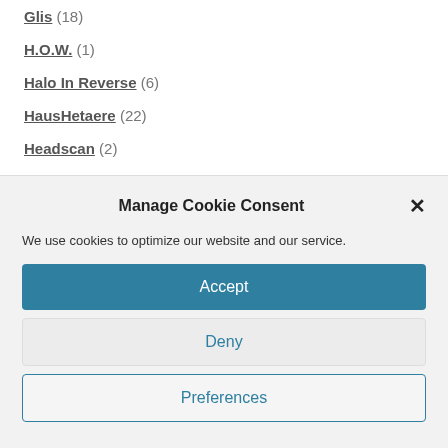Glis (18)
H.O.W. (1)
Halo In Reverse (6)
HausHetaere (22)
Headscan (2)
Helalyn Flowers (30)
Hungry Lucy (7)
Manage Cookie Consent
We use cookies to optimize our website and our service.
Accept
Deny
Preferences